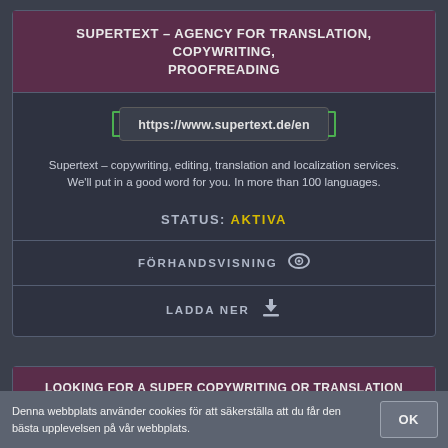SUPERTEXT – AGENCY FOR TRANSLATION, COPYWRITING, PROOFREADING
https://www.supertext.de/en
Supertext – copywriting, editing, translation and localization services. We'll put in a good word for you. In more than 100 languages.
STATUS: AKTIVA
FÖRHANDSVISNING
LADDA NER
LOOKING FOR A SUPER COPYWRITING OR TRANSLATION JOB? SUPERTEXT.
Denna webbplats använder cookies för att säkerställa att du får den bästa upplevelsen på vår webbplats.
OK